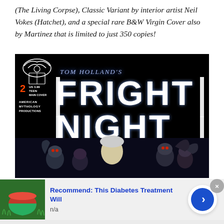(The Living Corpse), Classic Variant by interior artist Neil Vokes (Hatchet), and a special rare B&W Virgin Cover also by Martinez that is limited to just 350 copies!
[Figure (illustration): Comic book cover for Tom Holland's Fright Night #2, published by American Mythology Productions. Dark background with glowing blue title text 'FRIGHT NIGHT' in large bold font. Top-left corner shows publisher badge with issue number 2, price US 3.99, rating TEEN, and American Mythology Productions logo. Bottom portion shows illustrated figures of menacing creatures/vampires surrounding a frightened person with white hair.]
[Figure (infographic): Advertisement banner: 'Recommend: This Diabetes Treatment Will' with a thumbnail image of what appears to be a watermelon slice/bowl in grass, and a blue circular arrow button on the right. A grey close (x) button appears in the top right corner.]